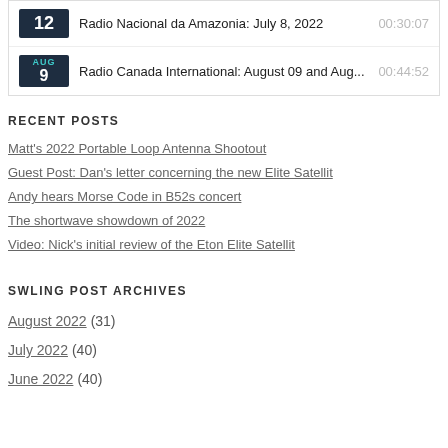Radio Nacional da Amazonia: July 8, 2022 — 00:30:07
Radio Canada International: August 09 and Aug... — 00:44:52
RECENT POSTS
Matt's 2022 Portable Loop Antenna Shootout
Guest Post: Dan's letter concerning the new Elite Satellit
Andy hears Morse Code in B52s concert
The shortwave showdown of 2022
Video: Nick's initial review of the Eton Elite Satellit
SWLING POST ARCHIVES
August 2022 (31)
July 2022 (40)
June 2022 (40)